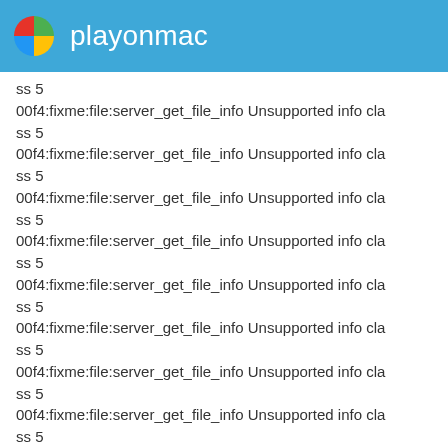playonmac
ss 5
00f4:fixme:file:server_get_file_info Unsupported info class 5
00f4:fixme:file:server_get_file_info Unsupported info class 5
00f4:fixme:file:server_get_file_info Unsupported info class 5
00f4:fixme:file:server_get_file_info Unsupported info class 5
00f4:fixme:file:server_get_file_info Unsupported info class 5
00f4:fixme:file:server_get_file_info Unsupported info class 5
00f4:fixme:file:server_get_file_info Unsupported info class 5
00f4:fixme:file:server_get_file_info Unsupported info class 5
ss 5